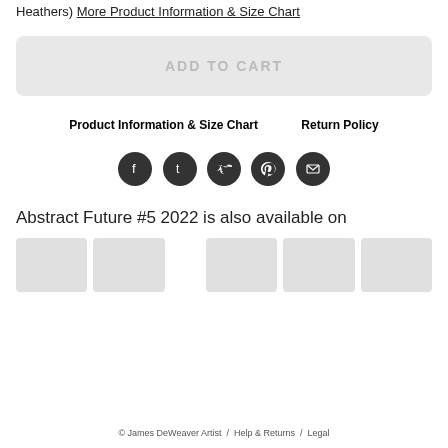Heathers) More Product Information & Size Chart
ADD TO CART
Product Information & Size Chart    Return Policy
[Figure (infographic): Row of 5 dark circular social media icon buttons: Facebook, Tumblr, Twitter, Pinterest, Email]
Abstract Future #5 2022 is also available on
[Figure (other): Row of 6 light grey placeholder thumbnail boxes for product images]
© James DeWeaver Artist  /  Help & Returns  /  Legal